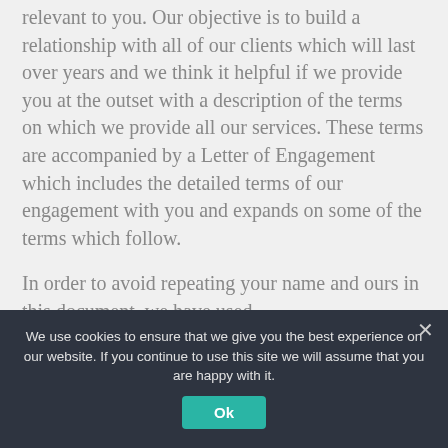relevant to you.  Our objective is to build a relationship with all of our clients which will last over years and we think it helpful if we provide you at the outset with a description of the terms on which we provide all our services.  These terms are accompanied by a Letter of Engagement which includes the detailed terms of our engagement with you and expands on some of the terms which follow.
In order to avoid repeating your name and ours in this document, we have used
We use cookies to ensure that we give you the best experience on our website. If you continue to use this site we will assume that you are happy with it.